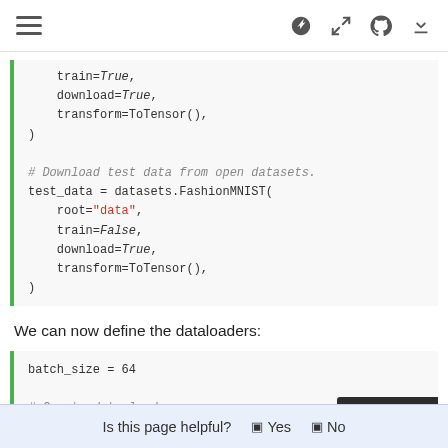Navigation bar with hamburger menu and icons
[Figure (screenshot): Code block showing Python code: train=True, download=True, transform=ToTensor(), ) followed by comment # Download test data from open datasets. and test_data = datasets.FashionMNIST( root='data', train=False, download=True, transform=ToTensor(), )]
We can now define the dataloaders:
[Figure (screenshot): Code block showing batch_size = 64, # Create data loaders. train_da... batch_si... test_dat... with version badge v: master and feedback bar 'Is this page helpful? Yes No']